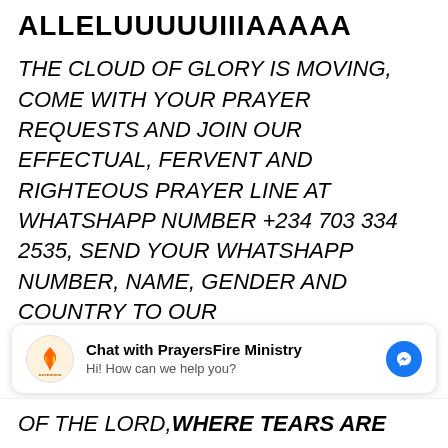ALLELUUUUUIIIAAAAA
THE CLOUD OF GLORY IS MOVING, COME WITH YOUR PRAYER REQUESTS AND JOIN OUR EFFECTUAL, FERVENT AND RIGHTEOUS PRAYER LINE AT WHATSHAPP NUMBER +234 703 334 2535, SEND YOUR WHATSHAPP NUMBER, NAME, GENDER AND COUNTRY TO OUR
[Figure (logo): PrayersFire Ministry logo - flame icon with text RAYERSFIP below]
Chat with PrayersFire Ministry
Hi! How can we help you?
OF THE LORD, WHERE TEARS ARE